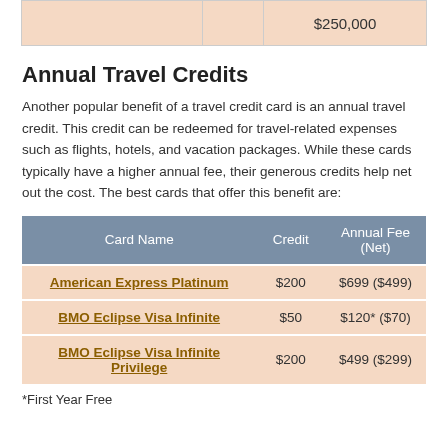|  |  | $250,000 |
| --- | --- | --- |
Annual Travel Credits
Another popular benefit of a travel credit card is an annual travel credit. This credit can be redeemed for travel-related expenses such as flights, hotels, and vacation packages. While these cards typically have a higher annual fee, their generous credits help net out the cost. The best cards that offer this benefit are:
| Card Name | Credit | Annual Fee (Net) |
| --- | --- | --- |
| American Express Platinum | $200 | $699 ($499) |
| BMO Eclipse Visa Infinite | $50 | $120* ($70) |
| BMO Eclipse Visa Infinite Privilege | $200 | $499 ($299) |
*First Year Free